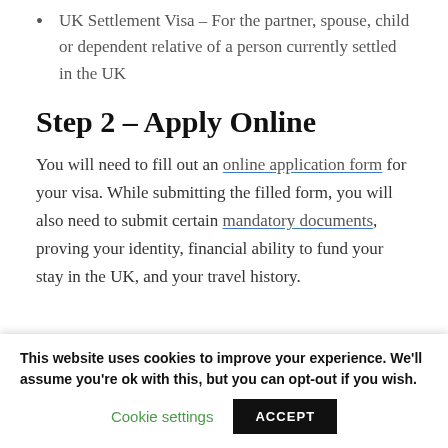UK Settlement Visa – For the partner, spouse, child or dependent relative of a person currently settled in the UK
Step 2 – Apply Online
You will need to fill out an online application form for your visa. While submitting the filled form, you will also need to submit certain mandatory documents, proving your identity, financial ability to fund your stay in the UK, and your travel history.
This website uses cookies to improve your experience. We'll assume you're ok with this, but you can opt-out if you wish.